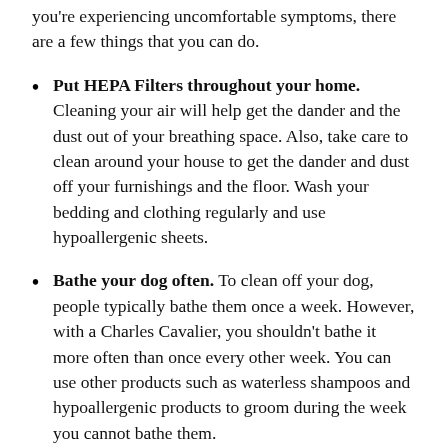you're experiencing uncomfortable symptoms, there are a few things that you can do.
Put HEPA Filters throughout your home. Cleaning your air will help get the dander and the dust out of your breathing space. Also, take care to clean around your house to get the dander and dust off your furnishings and the floor. Wash your bedding and clothing regularly and use hypoallergenic sheets.
Bathe your dog often. To clean off your dog, people typically bathe them once a week. However, with a Charles Cavalier, you shouldn't bathe it more often than once every other week. You can use other products such as waterless shampoos and hypoallergenic products to groom during the week you cannot bathe them.
Treat your symptoms. Always check with your doctor before taking any medication.